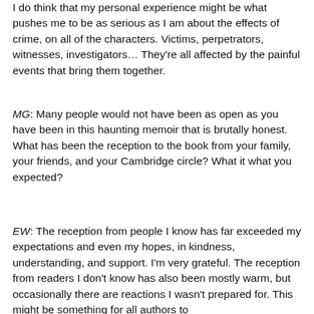I do think that my personal experience might be what pushes me to be as serious as I am about the effects of crime, on all of the characters. Victims, perpetrators, witnesses, investigators… They're all affected by the painful events that bring them together.
MG: Many people would not have been as open as you have been in this haunting memoir that is brutally honest. What has been the reception to the book from your family, your friends, and your Cambridge circle? What it what you expected?
EW: The reception from people I know has far exceeded my expectations and even my hopes, in kindness, understanding, and support. I'm very grateful. The reception from readers I don't know has also been mostly warm, but occasionally there are reactions I wasn't prepared for. This might be something for all authors to